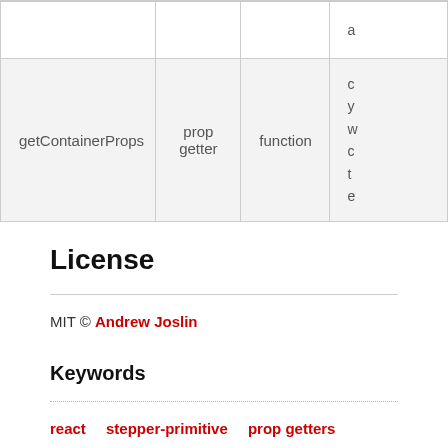|  |  |  | a |
| getContainerProps | prop getter | function | c y w c t e |
License
MIT © Andrew Joslin
Keywords
react   stepper-primitive   prop getters